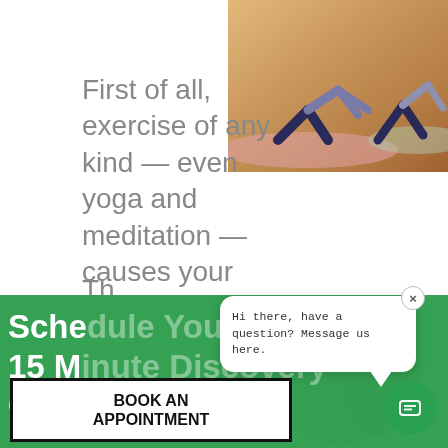[Figure (photo): People doing yoga/downward dog pose on mats on a wooden floor, viewed from above/side, warm wood tones]
First of all, exercise of any kind — even yoga and meditation — causes your body to release endorphins.
Th...
Schedule Your Free 15 Minute Discovery Call
[Figure (screenshot): Chat bubble overlay with text: Hi there, have a question? Message us here. With a close X button and a teal chat FAB button]
BOOK AN APPOINTMENT